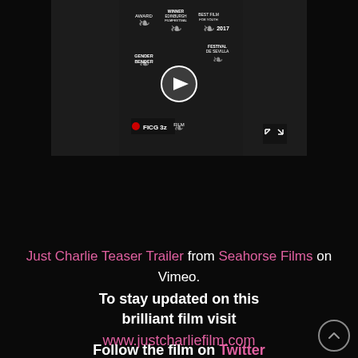[Figure (screenshot): Video thumbnail for Just Charlie Teaser Trailer showing film festival laurel wreaths, play button, FICG 32 logo, Winner Edinburgh Film Festival badge, Festival de Sevilla badge, and 2017 text on a dark background]
Just Charlie Teaser Trailer from Seahorse Films on Vimeo.
To stay updated on this brilliant film visit www.justcharliefilm.com
Follow the film on Twitter